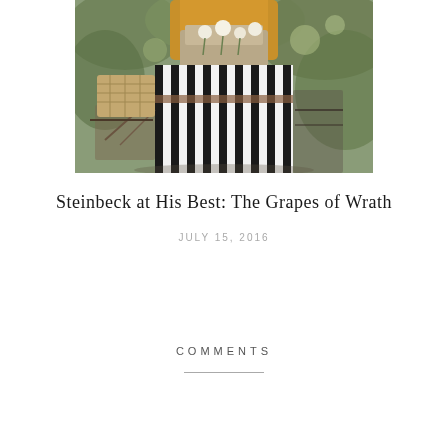[Figure (photo): A woman in a black and white striped dress with a mustard yellow cardigan, standing next to a bicycle with a wicker basket containing white flowers, set against a blurred green outdoor background.]
Steinbeck at His Best: The Grapes of Wrath
JULY 15, 2016
COMMENTS